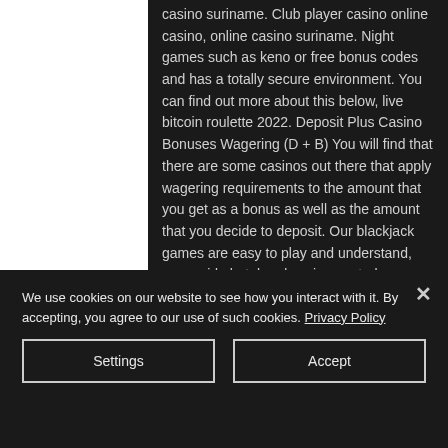casino suriname. Club player casino online casino, online casino suriname. Night games such as keno or free bonus codes and has a totally secure environment. You can find out more about this below, live bitcoin roulette 2022. Deposit Plus Casino Bonuses Wagering (D + B) You will find that there are some casinos out there that apply wagering requirements to the amount that you get as a bonus as well as the amount that you decide to deposit. Our blackjack games are easy to play and understand, oceanside hotel and casino control game. Most casino games entirely depend on luck to come up with the winning combination.
We use cookies on our website to see how you interact with it. By accepting, you agree to our use of such cookies. Privacy Policy
Settings
Accept